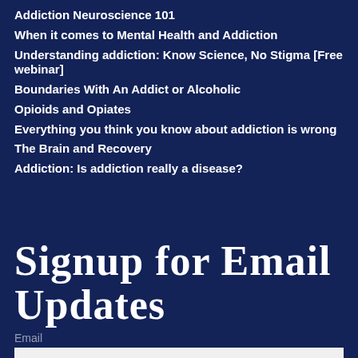Addiction Neuroscience 101
When it comes to Mental Health and Addiction
Understanding addiction: Know Science, No Stigma [Free webinar]
Boundaries With An Addict or Alcoholic
Opioids and Opiates
Everything you think you know about addiction is wrong
The Brain and Recovery
Addiction: Is addiction really a disease?
Signup for Email Updates
Email
Your email address
SIGN UP